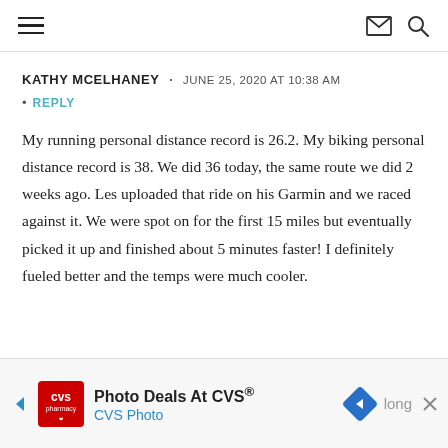Navigation header with hamburger menu, mail icon, and search icon
KATHY MCELHANEY · JUNE 25, 2020 AT 10:38 AM
REPLY
My running personal distance record is 26.2. My biking personal distance record is 38. We did 36 today, the same route we did 2 weeks ago. Les uploaded that ride on his Garmin and we raced against it. We were spot on for the first 15 miles but eventually picked it up and finished about 5 minutes faster! I definitely fueled better and the temps were much cooler.
Advertisement: Photo Deals At CVS® · CVS Photo